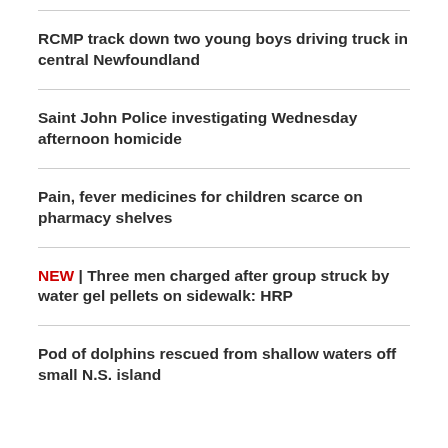RCMP track down two young boys driving truck in central Newfoundland
Saint John Police investigating Wednesday afternoon homicide
Pain, fever medicines for children scarce on pharmacy shelves
NEW | Three men charged after group struck by water gel pellets on sidewalk: HRP
Pod of dolphins rescued from shallow waters off small N.S. island